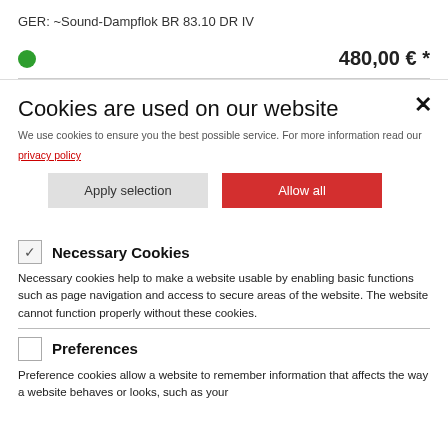GER: ~Sound-Dampflok BR 83.10 DR IV
480,00 € *
Cookies are used on our website
We use cookies to ensure you the best possible service. For more information read our privacy policy
Apply selection
Allow all
Necessary Cookies
Necessary cookies help to make a website usable by enabling basic functions such as page navigation and access to secure areas of the website. The website cannot function properly without these cookies.
Preferences
Preference cookies allow a website to remember information that affects the way a website behaves or looks, such as your